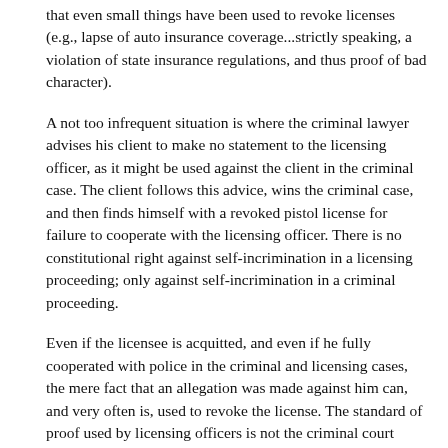that even small things have been used to revoke licenses (e.g., lapse of auto insurance coverage...strictly speaking, a violation of state insurance regulations, and thus proof of bad character).
A not too infrequent situation is where the criminal lawyer advises his client to make no statement to the licensing officer, as it might be used against the client in the criminal case. The client follows this advice, wins the criminal case, and then finds himself with a revoked pistol license for failure to cooperate with the licensing officer. There is no constitutional right against self-incrimination in a licensing proceeding; only against self-incrimination in a criminal proceeding.
Even if the licensee is acquitted, and even if he fully cooperated with police in the criminal and licensing cases, the mere fact that an allegation was made against him can, and very often is, used to revoke the license. The standard of proof used by licensing officers is not the criminal court standard, but a very relaxed standard of “reasonableness.” If the licensing officer reasonably believes the evidence shows that the licensee did something wrong, that is more than enough to revoke the license; and it is astonishing how unreasonable reasonable can be, and will be permitted by the courts. This also would be true even without a criminal case. Accusations alone, without arrest, very often result